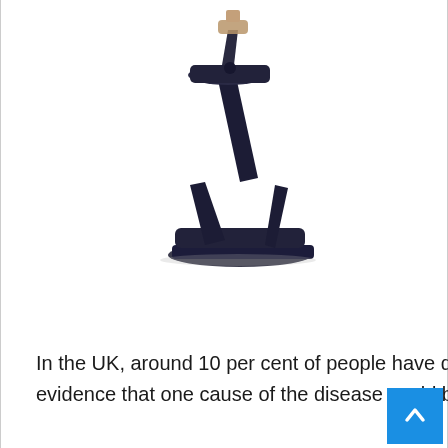[Figure (photo): A black ergonomic kneeling chair or balance stool with a dark navy/black frame, viewed from the side. The seat and knee pad are visible. The object appears to be a posture-correcting chair.]
In the UK, around 10 per cent of people have dyslexia and a small study published in 2017 fo evidence that one cause of the disease could be